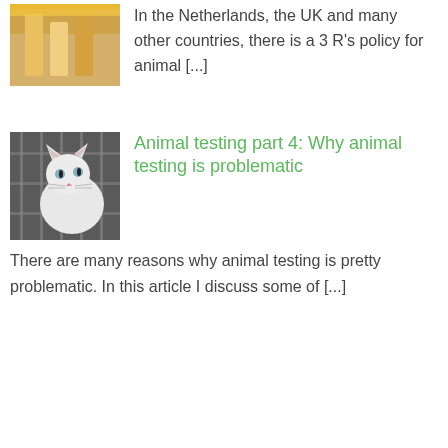[Figure (photo): Photo of yellow/orange lab equipment or cages, partial top crop]
In the Netherlands, the UK and many other countries, there is a 3 R's policy for animal [...]
[Figure (photo): White cat in a cage, animal testing context]
Animal testing part 4: Why animal testing is problematic
There are many reasons why animal testing is pretty problematic. In this article I discuss some of [...]